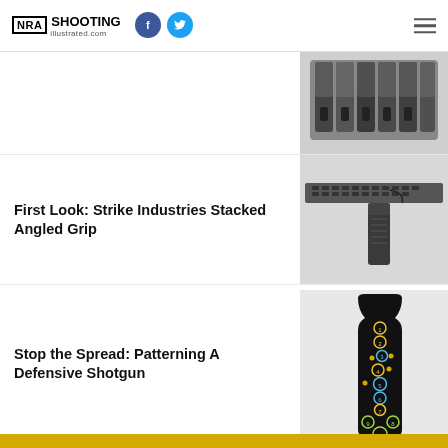NRA Shooting Illustrated - shootingillustrated.com
[Figure (photo): Photo of multiple pistols lined up side by side on white background]
First Look: Strike Industries Stacked Angled Grip
[Figure (photo): Photo of a rifle rail with Strike Industries stacked angled grip attached]
Stop the Spread: Patterning A Defensive Shotgun
[Figure (photo): Photo of a black shooting target silhouette with numbered shot pattern circles]